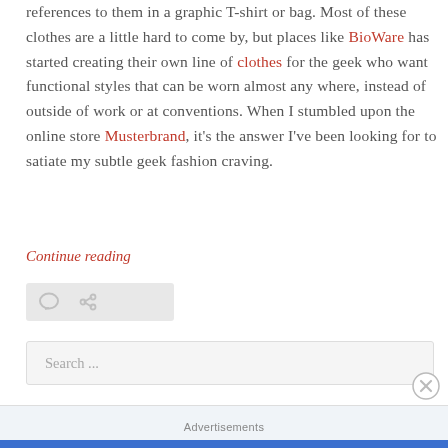references to them in a graphic T-shirt or bag. Most of these clothes are a little hard to come by, but places like BioWare has started creating their own line of clothes for the geek who want functional styles that can be worn almost any where, instead of outside of work or at conventions. When I stumbled upon the online store Musterbrand, it's the answer I've been looking for to satiate my subtle geek fashion craving.
Continue reading
[Figure (other): Small icon bar with comment bubble and link icons on light grey background]
Search ...
[Figure (other): Close/dismiss circular button with X symbol]
Advertisements